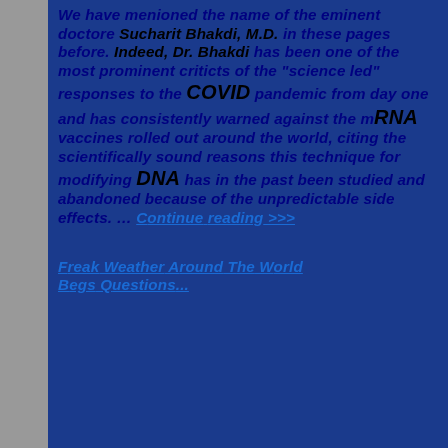We have menioned the name of the eminent doctore Sucharit Bhakdi, M.D. in these pages before. Indeed, Dr. Bhakdi has been one of the most prominent criticts of the "science led" responses to the COVID pandemic from day one and has consistently warned against the mRNA vaccines rolled out around the world, citing the scientifically sound reasons this technique for modifying DNA has in the past been studied and abandoned because of the unpredictable side effects. ... Continue reading >>>
Freak Weather Around The World Begs Questions...